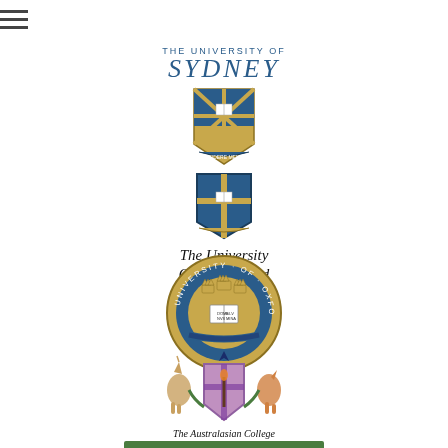[Figure (logo): Hamburger menu icon (three horizontal lines) at top center of page]
[Figure (logo): University of Sydney logo: text 'THE UNIVERSITY OF' and 'SYDNEY' in blue serif/italic above a shield crest with blue and gold design]
[Figure (logo): The University of Queensland Australia logo: shield crest in blue and gold with open book, text 'The University Of Queensland' in italic serif, 'Australia' in small caps]
[Figure (logo): University of Oxford circular seal: blue and gold circular badge with crowns and open book, text 'UNIVERSITY OF OXFORD' around the ring]
[Figure (logo): The Australasian College of Dermatologists coat of arms: heraldic shield with unicorn and kangaroo supporters, text 'The Australasian College of Dermatologists']
[Figure (logo): Partial logo at bottom of page, green bar visible]